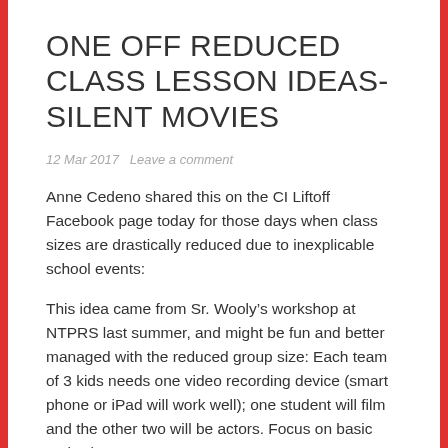ONE OFF REDUCED CLASS LESSON IDEAS- SILENT MOVIES
12 Mar 2017   Leave a comment
Anne Cedeno shared this on the CI Liftoff Facebook page today for those days when class sizes are drastically reduced due to inexplicable school events:
This idea came from Sr. Wooly’s workshop at NTPRS last summer, and might be fun and better managed with the reduced group size: Each team of 3 kids needs one video recording device (smart phone or iPad will work well); one student will film and the other two will be actors. Focus on basic verbs (super 7,